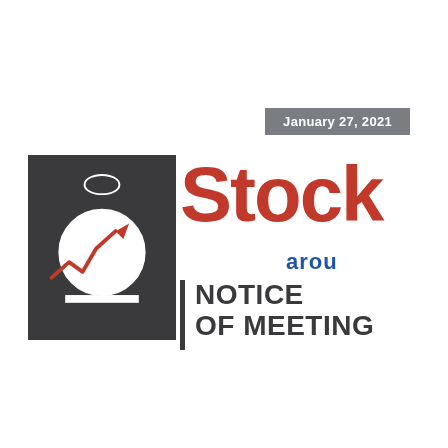January 27, 2021
[Figure (logo): StockAround company logo with magnifier icon, red 'Stock' text, blue 'arou' text, dark rectangle background, and stock chart arrow inside magnifier circle]
NOTICE OF MEETING